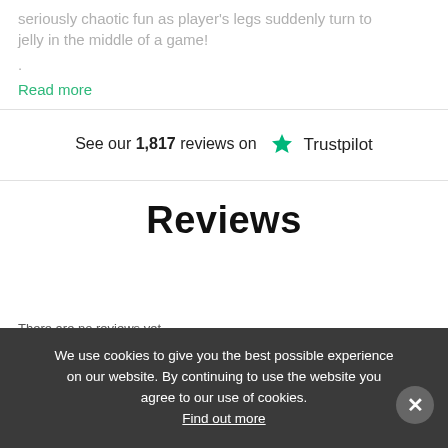seriously chaotic fun as player's legs suddenly turn to jelly in the middle of a game!
Read more
See our 1,817 reviews on Trustpilot
Reviews
There are no reviews yet.
Write a review
We use cookies to give you the best possible experience on our website. By continuing to use the website you agree to our use of cookies. Find out more